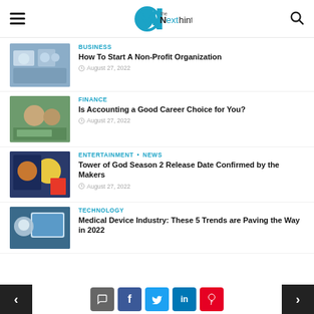The Next Hint
BUSINESS | How To Start A Non-Profit Organization | August 27, 2022
FINANCE | Is Accounting a Good Career Choice for You? | August 27, 2022
ENTERTAINMENT • NEWS | Tower of God Season 2 Release Date Confirmed by the Makers | August 27, 2022
TECHNOLOGY | Medical Device Industry: These 5 Trends are Paving the Way in 2022
< [comment] [f] [twitter] [in] [pinterest] >